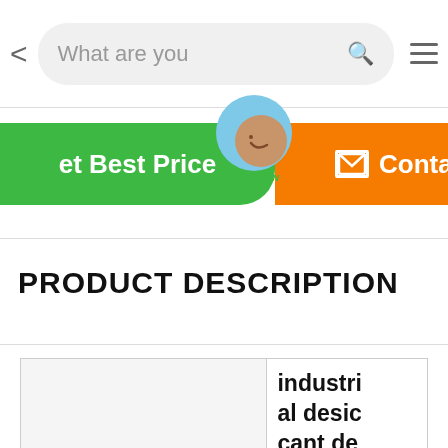What are you [searching for]
[Figure (screenshot): Green 'Get Best Price' button and orange 'Contact' button with a Chat Now bubble overlay]
PRODUCT DESCRIPTION
|  | industrial desiccant de |